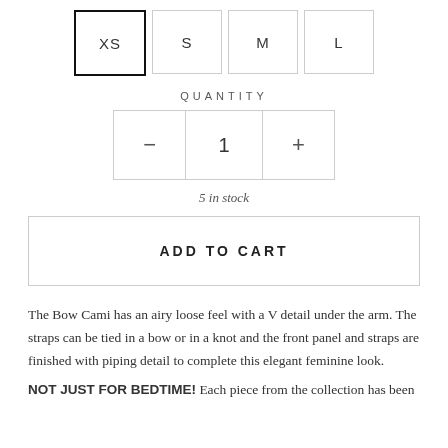[Figure (other): Size selector with four options: XS (selected/highlighted with bold border), S, M, L]
QUANTITY
[Figure (other): Quantity control with minus button, value 1, and plus button]
5 in stock
ADD TO CART
The Bow Cami has an airy loose feel with a V detail under the arm. The straps can be tied in a bow or in a knot and the front panel and straps are finished with piping detail to complete this elegant feminine look.
NOT JUST FOR BEDTIME! Each piece from the collection has been